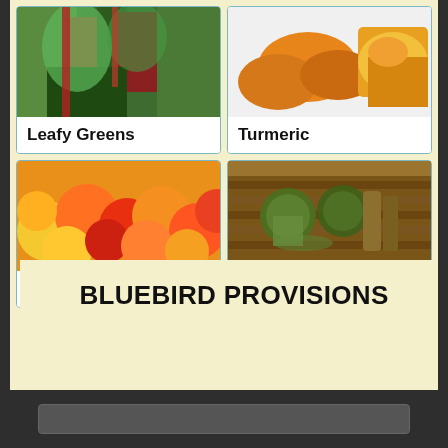[Figure (photo): Leafy Greens card with photo of colorful chard/kale plants and label 'Leafy Greens']
[Figure (photo): Turmeric card with photo of turmeric root slices and powder and label 'Turmeric']
[Figure (photo): Peppers card with photo of colorful bell peppers and label 'Peppers']
[Figure (photo): Green Tea card with photo of matcha green tea bowls, whisk and powder and label 'Green Tea']
BLUEBIRD PROVISIONS